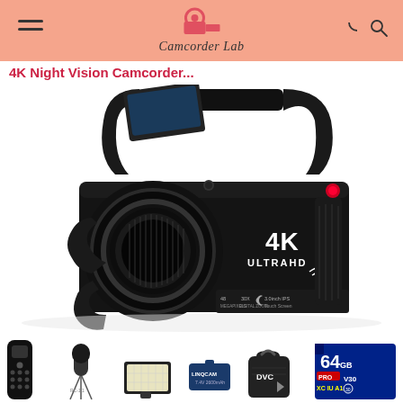Camcorder Lab
4K Night Vision Camcorder
[Figure (photo): 4K UltraHD WiFi night vision camcorder with handle, large lens with lens hood, 3.0 inch IPS Touch Screen display, 30X optical zoom, showing 4K ULTRAHD and WiFi branding on body]
[Figure (photo): Accessories row including: remote control, external microphone on tripod, LED light, battery, carrying case with DVC logo, 64GB SD card (XC V30 IU A1)]